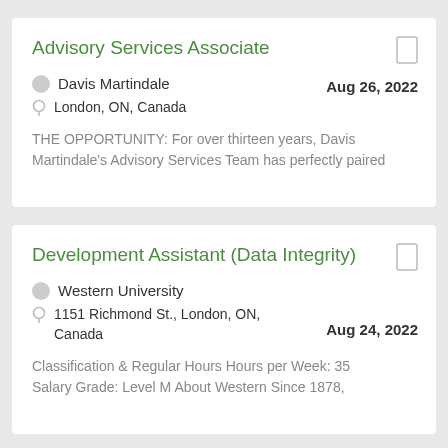Advisory Services Associate
Davis Martindale
London, ON, Canada
Aug 26, 2022
THE OPPORTUNITY:   For over thirteen years, Davis Martindale's Advisory Services Team has perfectly paired
Development Assistant (Data Integrity)
Western University
1151 Richmond St., London, ON, Canada
Aug 24, 2022
Classification & Regular Hours Hours per Week: 35 Salary Grade: Level M About Western Since 1878,